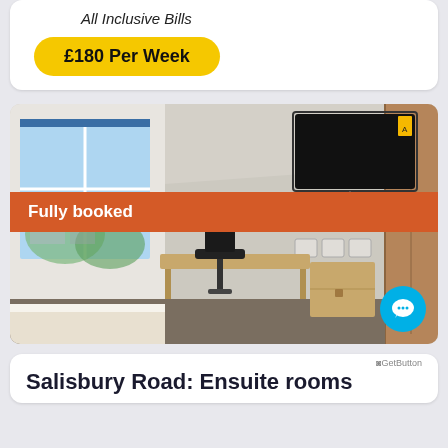All Inclusive Bills
£180 Per Week
[Figure (photo): Interior photo of an ensuite student room showing a desk with black chair, bedside table, wall-mounted flat screen TV, window with blue blinds, wardobe and electrical sockets. A red 'Fully booked' banner overlays the image.]
Fully booked
GetButton
Salisbury Road: Ensuite rooms